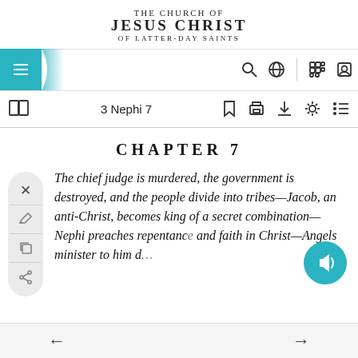[Figure (screenshot): The Church of Jesus Christ of Latter-day Saints logo/wordmark at top of page]
THE CHURCH OF JESUS CHRIST OF LATTER-DAY SAINTS
[Figure (screenshot): Navigation bar with hamburger menu, search, globe, grid, and user icons]
3 Nephi 7
CHAPTER 7
The chief judge is murdered, the government is destroyed, and the people divide into tribes—Jacob, an anti-Christ, becomes king of a secret combination—Nephi preaches repentance and faith in Christ—Angels minister to him d…